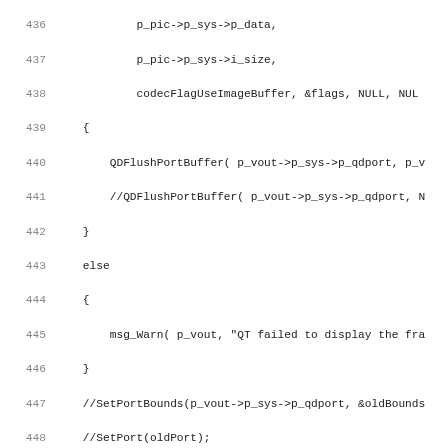Source code listing lines 436-467, C code for video output functions including QDFlushPortBuffer, ControlVideo, switch statement with VOUT_SET_STAY_ON_TOP and VOUT_CLOSE cases